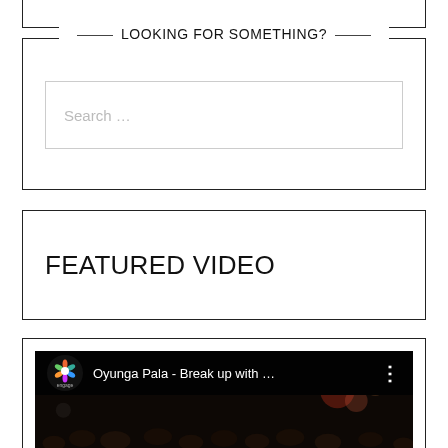LOOKING FOR SOMETHING?
Search ...
FEATURED VIDEO
[Figure (screenshot): YouTube video thumbnail showing 'Oyunga Pala - Break up with ...' with a crowd scene in dark lighting and the Engage logo in the top-left corner]